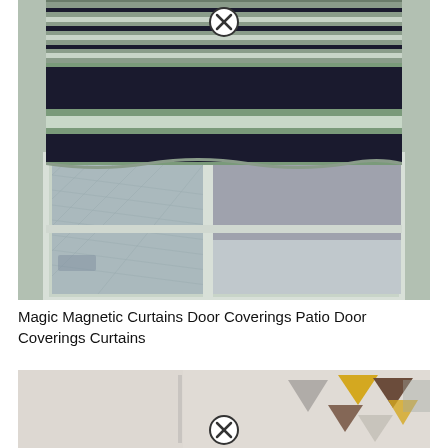[Figure (photo): Photo of a Roman blind window covering with navy/dark blue and sage green horizontal stripes, partially raised, showing a window with a chain-link fence visible outside. A close/delete button (circled X) appears at the top center.]
Magic Magnetic Curtains Door Coverings Patio Door Coverings Curtains
[Figure (photo): Partial view of another image showing what appears to be a geometric/triangular pattern artwork or curtain with yellow, brown, and gray triangles on a light background. A close/delete button (circled X) appears at the top center.]